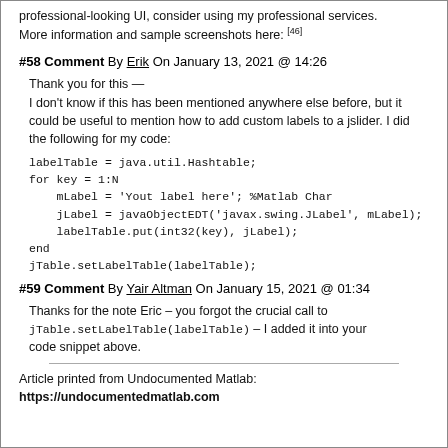professional-looking UI, consider using my professional services. More information and sample screenshots here: [46]
#58 Comment By Erik On January 13, 2021 @ 14:26
Thank you for this —
I don't know if this has been mentioned anywhere else before, but it could be useful to mention how to add custom labels to a jslider. I did the following for my code:
labelTable = java.util.Hashtable;
for key = 1:N
    mLabel = 'Yout label here'; %Matlab Char
    jLabel = javaObjectEDT('javax.swing.JLabel', mLabel);
    labelTable.put(int32(key), jLabel);
end
jTable.setLabelTable(labelTable);
#59 Comment By Yair Altman On January 15, 2021 @ 01:34
Thanks for the note Eric – you forgot the crucial call to jTable.setLabelTable(labelTable) – I added it into your code snippet above.
Article printed from Undocumented Matlab:
https://undocumentedmatlab.com